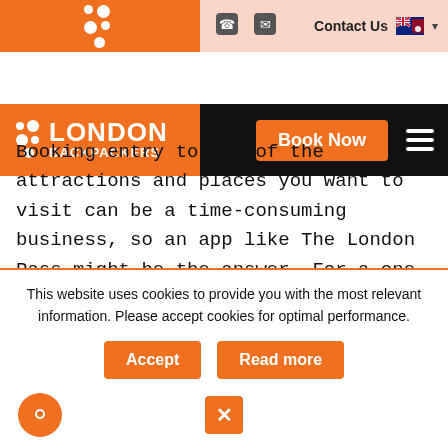[Figure (logo): London Backpackers logo with orange background, dots pattern, and text 'LONDON BACKPACKERS'. Navigation bar with black background, Book Now orange button, and hamburger menu. Contact Us with Australian flag.]
Booking entry to all of the attractions and places you want to visit can be a time-consuming business, so an app like The London Pass might be the answer. For a one-off fee it includes entrance to attractions like The View from the Shard, London Zoo, Hop-on Hop-off Bus tours and Westminster Abbey. It also lets you jump to the front of the queue at some attractions and comes with its own guidebook. The key advice if you do purchase the pass is to make sure that you plan your travel well in advance to take full advantage and visit 2
This website uses cookies to provide you with the most relevant information. Please accept cookies for optimal performance.